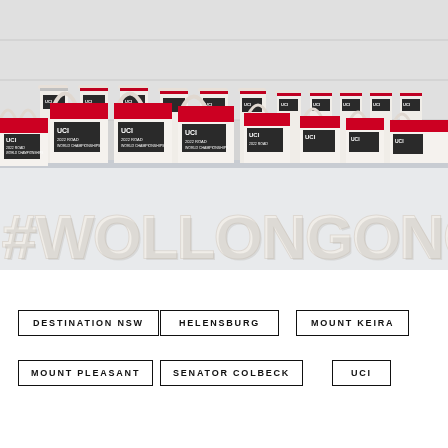[Figure (photo): Photo of white gift bags with UCI 2022 Road World Championships branding and red tissue paper, lined up on a table. A large white 3D letter sign reading #WOLLONGONG2022 sits in front of the bags.]
DESTINATION NSW
HELENSBURG
MOUNT KEIRA
MOUNT PLEASANT
SENATOR COLBECK
UCI